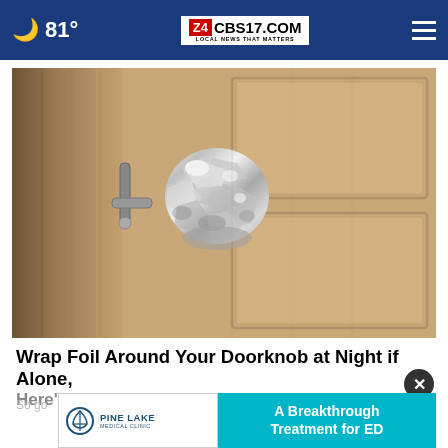81° CBS17.COM LOCAL NEWS THAT MATTERS
[Figure (photo): A door knob wrapped in aluminum foil, shown on a tan/beige interior door.]
Wrap Foil Around Your Doorknob at Night if Alone, Here's Why
So go
[Figure (infographic): Pine Lake Medical Clinic ad: A Breakthrough Treatment for ED]